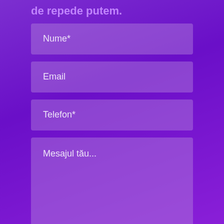de repede putem.
[Figure (screenshot): Contact form with fields: Nume*, Email, Telefon*, Mesajul tău... on a purple gradient background]
Nume*
Email
Telefon*
Mesajul tău...